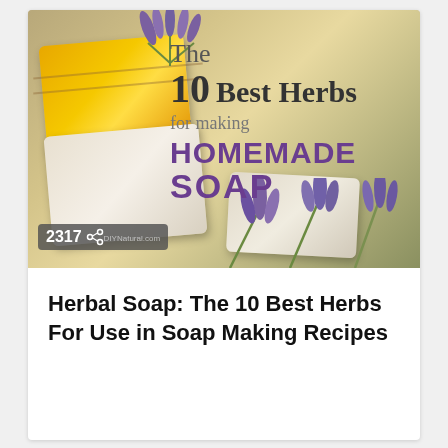[Figure (photo): Photo of yellow and white handmade soap bars with lavender flowers, with text overlay reading 'The 10 Best Herbs for making HOMEMADE SOAP' and a share badge showing '2317' and 'DIYNatural.com']
Herbal Soap: The 10 Best Herbs For Use in Soap Making Recipes